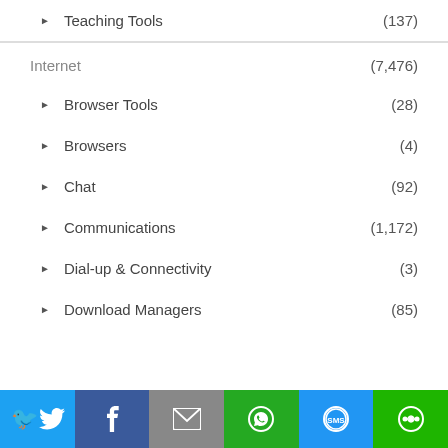Teaching Tools (137)
Internet (7,476)
Browser Tools (28)
Browsers (4)
Chat (92)
Communications (1,172)
Dial-up & Connectivity (3)
Download Managers (85)
[Figure (infographic): Social share bar with Twitter, Facebook, Email, WhatsApp, SMS, and Other share icons]